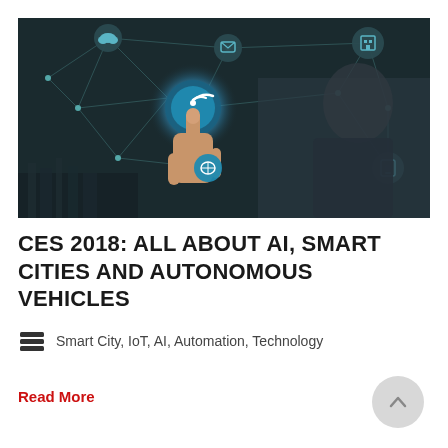[Figure (photo): A hand with index finger pointing at a glowing WiFi/connectivity icon, surrounded by a dark network graph with hexagonal nodes showing IoT icons (cloud, mobile, factory, smart home). Teal and blue digital network overlay on dark background.]
CES 2018: ALL ABOUT AI, SMART CITIES AND AUTONOMOUS VEHICLES
Smart City, IoT, AI, Automation, Technology
Read More